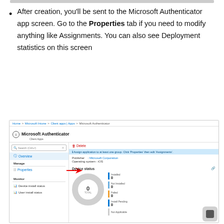[Figure (screenshot): Top border decorative bar at the top of the page]
After creation, you'll be sent to the Microsoft Authenticator app screen. Go to the Properties tab if you need to modify anything like Assignments. You can also see Deployment statistics on this screen
[Figure (screenshot): Microsoft Intune portal screenshot showing Microsoft Authenticator app page with navigation panel on left (Properties highlighted with red arrow, Device install status, User install status), and main panel on right showing Delete button, info bar, Publisher: Microsoft Corporation, Operating system: iOS, Device status donut chart showing 0 TOTAL with legend for Installed 0, Not Installed 0, Failed 0, Install Pending 0, Not Applicable.]